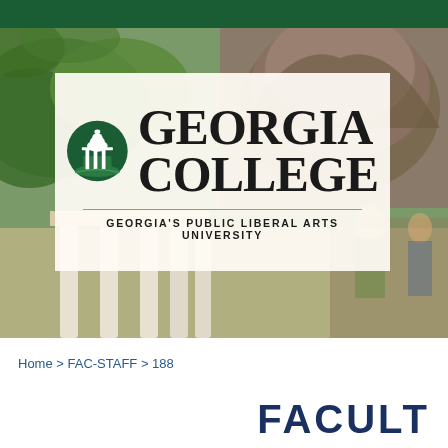[Figure (photo): Georgia College header with campus photo showing a building with columns and dome, overlaid with the Georgia College logo and tagline 'Georgia's Public Liberal Arts University']
Home > FAC-STAFF > 188
FACULT